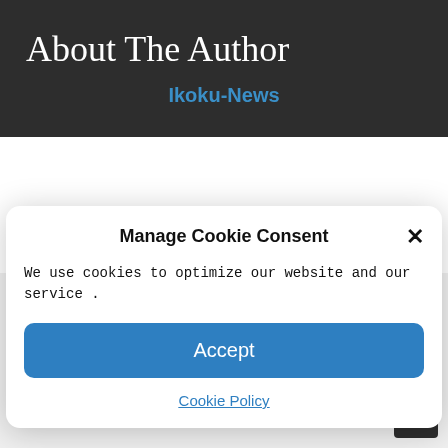About The Author
Ikoku-News
Leave a Reply
Comment Text*
Manage Cookie Consent
We use cookies to optimize our website and our service .
Accept
Cookie Policy